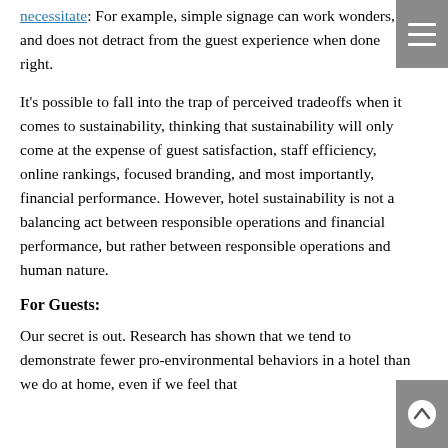necessitate: For example, simple signage can work wonders, and does not detract from the guest experience when done right.
It's possible to fall into the trap of perceived tradeoffs when it comes to sustainability, thinking that sustainability will only come at the expense of guest satisfaction, staff efficiency, online rankings, focused branding, and most importantly, financial performance. However, hotel sustainability is not a balancing act between responsible operations and financial performance, but rather between responsible operations and human nature.
For Guests:
Our secret is out. Research has shown that we tend to demonstrate fewer pro-environmental behaviors in a hotel than we do at home, even if we feel that